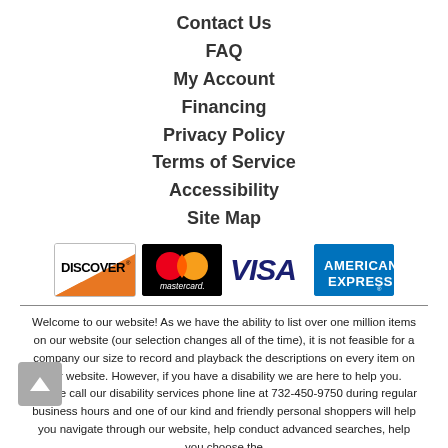Contact Us
FAQ
My Account
Financing
Privacy Policy
Terms of Service
Accessibility
Site Map
[Figure (logo): Discover card logo]
[Figure (logo): Mastercard logo]
[Figure (logo): Visa logo]
[Figure (logo): American Express logo]
Welcome to our website! As we have the ability to list over one million items on our website (our selection changes all of the time), it is not feasible for a company our size to record and playback the descriptions on every item on our website. However, if you have a disability we are here to help you. Please call our disability services phone line at 732-450-9750 during regular business hours and one of our kind and friendly personal shoppers will help you navigate through our website, help conduct advanced searches, help you choose the